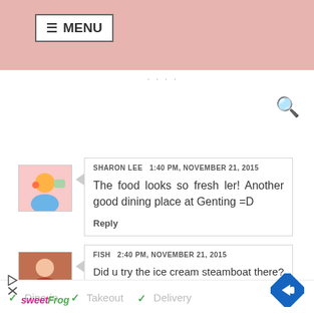☰ MENU
....
[Figure (screenshot): Search icon (magnifying glass) in top right]
[Figure (photo): Avatar thumbnail - Sharon Lee: colorful illustration]
SHARON LEE  1:40 PM, NOVEMBER 21, 2015
The food looks so fresh ler! Another good dining place at Genting =D
Reply
[Figure (photo): Avatar thumbnail - Fish: woman with food]
FISH  2:40 PM, NOVEMBER 21, 2015
Did u try the ice cream steamboat there? Super good and indulgent for ice cream lovers!!
✓ Dine-in  ✓ Takeout
✓ Delivery
[Figure (logo): sweetFrog logo]
[Figure (other): Blue diamond navigation arrow icon (turn right)]